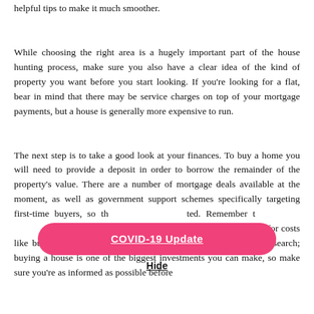helpful tips to make it much smoother.
While choosing the right area is a hugely important part of the house hunting process, make sure you also have a clear idea of the kind of property you want before you start looking. If you're looking for a flat, bear in mind that there may be service charges on top of your mortgage payments, but a house is generally more expensive to run.
The next step is to take a good look at your finances. To buy a home you will need to provide a deposit in order to borrow the remainder of the property's value. There are a number of mortgage deals available at the moment, as well as government support schemes specifically targeting first-time buyers, so th[...] ted. Remember t[...] yments, you need to make sure you can afford to pay for costs like buildings insurance and day-to-day maintenance. Do your research; buying a house is one of the biggest investments you can make, so make sure you're as informed as possible before
[Figure (other): COVID-19 Update button overlay with pink/red pill-shaped background, underlined white text 'COVID-19 Update', and a 'Hide' link below it]